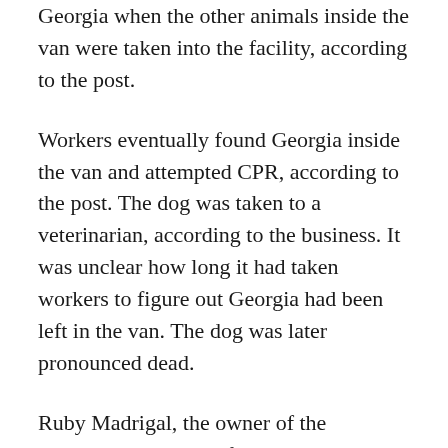Georgia when the other animals inside the van were taken into the facility, according to the post.
Workers eventually found Georgia inside the van and attempted CPR, according to the post. The dog was taken to a veterinarian, according to the business. It was unclear how long it had taken workers to figure out Georgia had been left in the van. The dog was later pronounced dead.
Ruby Madrigal, the owner of the business, declined to further comment when reached by phone Monday afternoon.
The business wrote about the incident on their Facebook page, leading to an onslaught of backlash on social media that included a petition to shutter K9 University